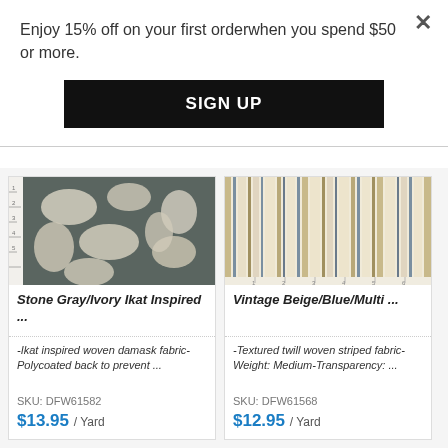Enjoy 15% off on your first orderwhen you spend $50 or more.
SIGN UP
[Figure (photo): Stone Gray and Ivory Ikat inspired woven fabric swatch with ruler]
Stone Gray/Ivory Ikat Inspired ...
-Ikat inspired woven damask fabric-Polycoated back to prevent ...
SKU: DFW61582
$13.95 / Yard
[Figure (photo): Vintage Beige/Blue/Multi striped twill woven fabric swatch with ruler]
Vintage Beige/Blue/Multi ...
-Textured twill woven striped fabric-Weight: Medium-Transparency: ...
SKU: DFW61568
$12.95 / Yard